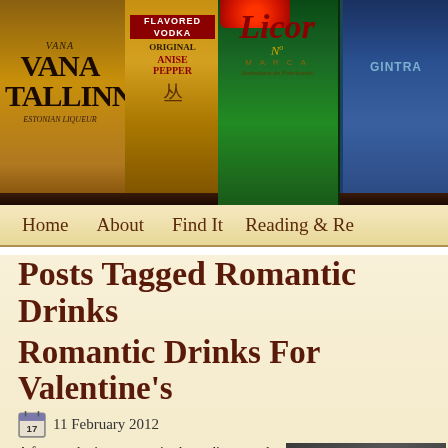[Figure (photo): Photograph of several liquor bottles including Vana Tallinn, a flavored vodka, Licor with red cap, and a blue bottle arranged on a shelf]
Home   About   Find It   Reading & Re
Posts Tagged Romantic Drinks
Romantic Drinks For Valentine's
11 February 2012
A few marketing companies have discovered that Odd Bacchus attracts literally dozens of readers, and in the past couple of weeks I've been inundated with e-mails recommending Valentine's Day cocktails or wines to feature on my blog.